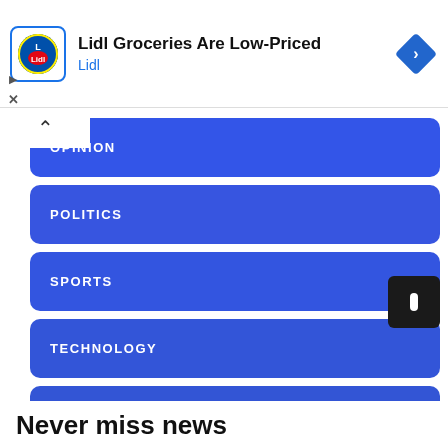[Figure (other): Lidl grocery advertisement banner with logo, title 'Lidl Groceries Are Low-Priced', brand name 'Lidl', and a blue diamond navigation arrow icon]
OPINION
POLITICS
SPORTS
TECHNOLOGY
WORLD
Never miss news